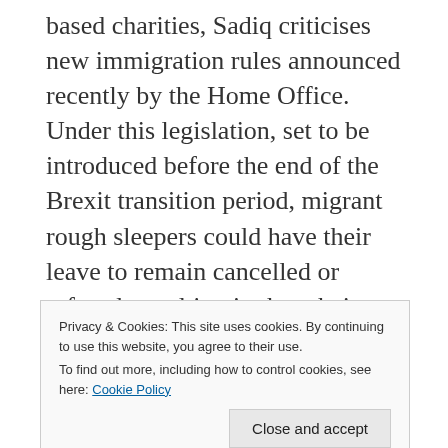based charities, Sadiq criticises new immigration rules announced recently by the Home Office. Under this legislation, set to be introduced before the end of the Brexit transition period, migrant rough sleepers could have their leave to remain cancelled or refused, resulting in them being deported.
These measures will deter already vulnerable people from seeking help in rebuilding their lives off the street and put them at greater risk of exploitation and infection from Covid-19.
Privacy & Cookies: This site uses cookies. By continuing to use this website, you agree to their use.
To find out more, including how to control cookies, see here: Cookie Policy
makes them more vulnerable to destitution and it